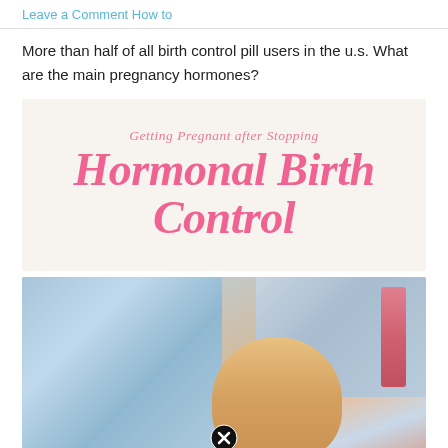Leave a Comment How to
More than half of all birth control pill users in the u.s. What are the main pregnancy hormones?
[Figure (illustration): Infographic with text 'Getting Pregnant after Stopping Hormonal Birth Control' on a beige/cream background with large pink cursive/italic text]
[Figure (photo): Close-up photo of baby items including blue knitted yarn/booties, a tan/yellow rounded object, and pink/red element on right, with a close button (X circle) at the bottom center]